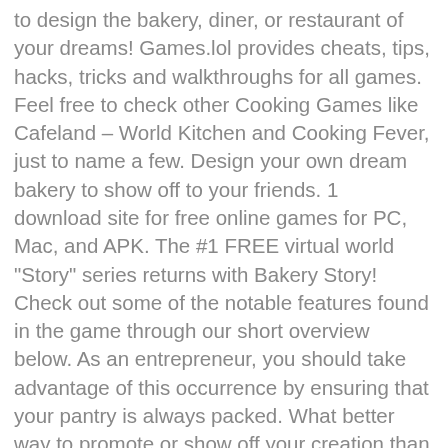to design the bakery, diner, or restaurant of your dreams! Games.lol provides cheats, tips, hacks, tricks and walkthroughs for all games. Feel free to check other Cooking Games like Cafeland – World Kitchen and Cooking Fever, just to name a few. Design your own dream bakery to show off to your friends. 1 download site for free online games for PC, Mac, and APK. The #1 FREE virtual world "Story" series returns with Bakery Story! Check out some of the notable features found in the game through our short overview below. As an entrepreneur, you should take advantage of this occurrence by ensuring that your pantry is always packed. What better way to promote or show off your creation than by sharing it with your peers and family! San Mateo, CA 94404, Cookies help us deliver our services. Or are you someone who's just looking for an immersive casual game that you can play in the comfort of your PC? Bake delicious goodies and design a magnificent Bakery! In other words, always make sure that you are earning more than what you are spending, just like in real life. Choose to bake from over a thousand different delicious restaurant level recipes. Don't forget to make sure your customers are happy and well-fed by choosing stunning decoration and tasty new pastries! You must keep in mind to purchase the cheapest decoration items and furniture to save coins. Just like most management-inspired titles, this game only provides the